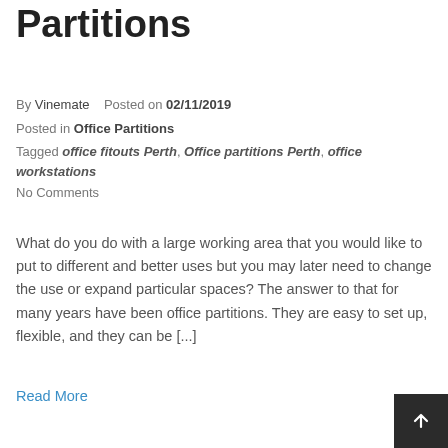Partitions
By Vinemate   Posted on 02/11/2019
Posted in Office Partitions
Tagged office fitouts Perth, Office partitions Perth, office workstations
No Comments
What do you do with a large working area that you would like to put to different and better uses but you may later need to change the use or expand particular spaces? The answer to that for many years have been office partitions. They are easy to set up, flexible, and they can be [...]
Read More